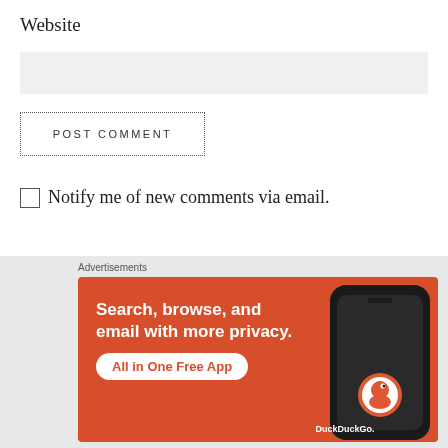Website
POST COMMENT
Notify me of new comments via email.
Notify me of new posts via email.
Advertisements
[Figure (screenshot): DuckDuckGo advertisement banner: orange background with text 'Search, browse, and email with more privacy. All in One Free App' and DuckDuckGo logo with phone image]